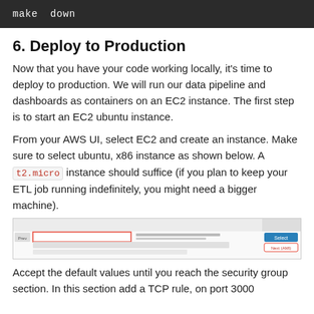make down
6. Deploy to Production
Now that you have your code working locally, it's time to deploy to production. We will run our data pipeline and dashboards as containers on an EC2 instance. The first step is to start an EC2 ubuntu instance.
From your AWS UI, select EC2 and create an instance. Make sure to select ubuntu, x86 instance as shown below. A t2.micro instance should suffice (if you plan to keep your ETL job running indefinitely, you might need a bigger machine).
[Figure (screenshot): Screenshot of AWS EC2 instance selection UI showing Ubuntu Server option highlighted with a red box, and a Select button on the right side.]
Accept the default values until you reach the security group section. In this section add a TCP rule, on port 3000